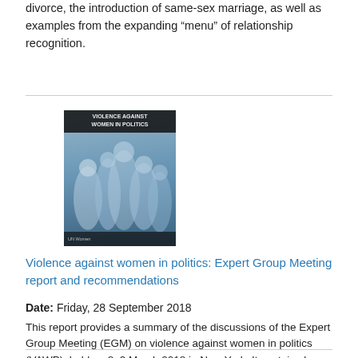divorce, the introduction of same-sex marriage, as well as examples from the expanding “menu” of relationship recognition.
[Figure (photo): Book cover of 'Violence Against Women in Politics' publication, showing a blurred crowd of people in blue tones]
Violence against women in politics: Expert Group Meeting report and recommendations
Date: Friday, 28 September 2018
This report provides a summary of the discussions of the Expert Group Meeting (EGM) on violence against women in politics (VAWP), held on 8–9 March 2018 in New York. It contains key points and priority actions to inform interventions to address violence against women in politics.